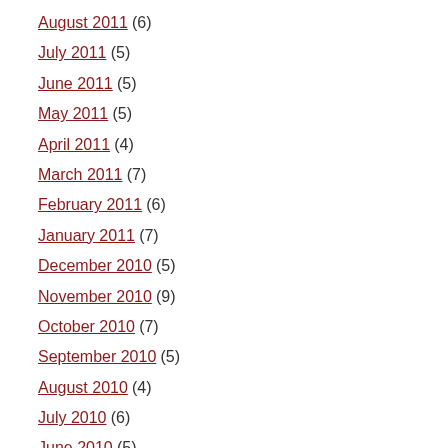August 2011 (6)
July 2011 (5)
June 2011 (5)
May 2011 (5)
April 2011 (4)
March 2011 (7)
February 2011 (6)
January 2011 (7)
December 2010 (5)
November 2010 (9)
October 2010 (7)
September 2010 (5)
August 2010 (4)
July 2010 (6)
June 2010 (5)